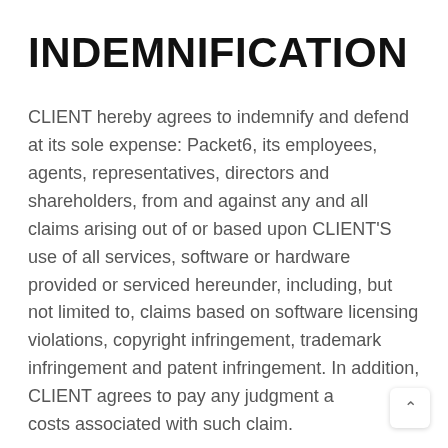INDEMNIFICATION
CLIENT hereby agrees to indemnify and defend at its sole expense: Packet6, its employees, agents, representatives, directors and shareholders, from and against any and all claims arising out of or based upon CLIENT’S use of all services, software or hardware provided or serviced hereunder, including, but not limited to, claims based on software licensing violations, copyright infringement, trademark infringement and patent infringement. In addition, CLIENT agrees to pay any judgment and costs associated with such claim.